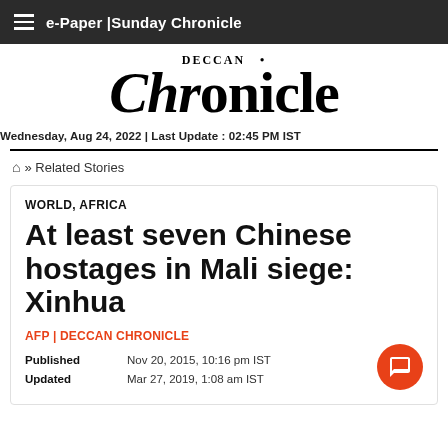e-Paper | Sunday Chronicle
DECCAN Chronicle
Wednesday, Aug 24, 2022 | Last Update : 02:45 PM IST
🏠 » Related Stories
WORLD, AFRICA
At least seven Chinese hostages in Mali siege: Xinhua
AFP | DECCAN CHRONICLE
Published Nov 20, 2015, 10:16 pm IST
Updated Mar 27, 2019, 1:08 am IST